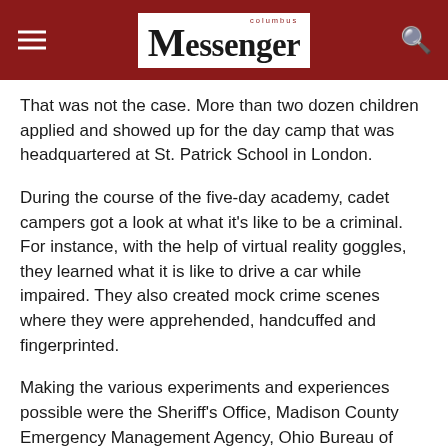columbus Messenger
That was not the case. More than two dozen children applied and showed up for the day camp that was headquartered at St. Patrick School in London.
During the course of the five-day academy, cadet campers got a look at what it’s like to be a criminal. For instance, with the help of virtual reality goggles, they learned what it is like to drive a car while impaired. They also created mock crime scenes where they were apprehended, handcuffed and fingerprinted.
Making the various experiments and experiences possible were the Sheriff’s Office, Madison County Emergency Management Agency, Ohio Bureau of Identification and Investigation, and partner agencies in